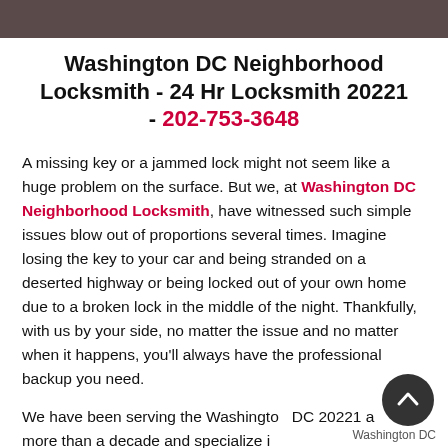Washington DC Neighborhood Locksmith - 24 Hr Locksmith 20221 - 202-753-3648
A missing key or a jammed lock might not seem like a huge problem on the surface. But we, at Washington DC Neighborhood Locksmith, have witnessed such simple issues blow out of proportions several times. Imagine losing the key to your car and being stranded on a deserted highway or being locked out of your own home due to a broken lock in the middle of the night. Thankfully, with us by your side, no matter the issue and no matter when it happens, you'll always have the professional backup you need.
We have been serving the Washington DC 20221 area for more than a decade and specialize in...